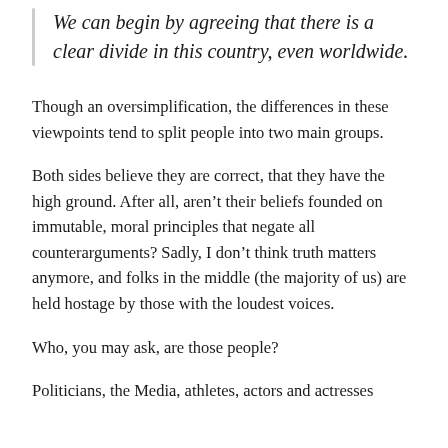We can begin by agreeing that there is a clear divide in this country, even worldwide.
Though an oversimplification, the differences in these viewpoints tend to split people into two main groups.
Both sides believe they are correct, that they have the high ground. After all, aren’t their beliefs founded on immutable, moral principles that negate all counterarguments? Sadly, I don’t think truth matters anymore, and folks in the middle (the majority of us) are held hostage by those with the loudest voices.
Who, you may ask, are those people?
Politicians, the Media, athletes, actors and actresses